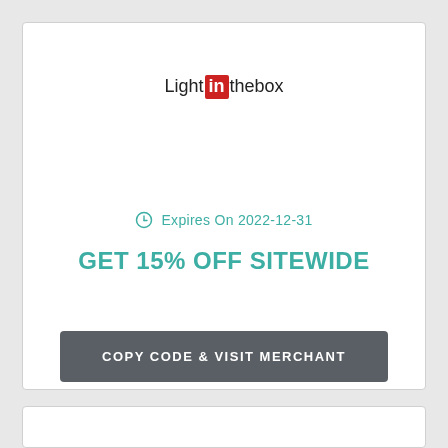[Figure (logo): LightInTheBox logo with 'in' text in red rounded rectangle]
Expires On 2022-12-31
GET 15% OFF SITEWIDE
COPY CODE & VISIT MERCHANT